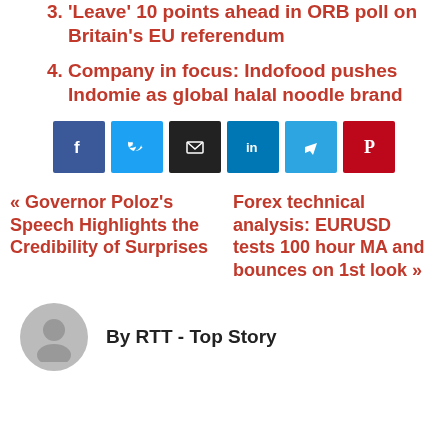3. 'Leave' 10 points ahead in ORB poll on Britain's EU referendum
4. Company in focus: Indofood pushes Indomie as global halal noodle brand
[Figure (other): Social share buttons: Facebook, Twitter, Email, LinkedIn, Telegram, Pinterest]
« Governor Poloz's Speech Highlights the Credibility of Surprises
Forex technical analysis: EURUSD tests 100 hour MA and bounces on 1st look »
By RTT - Top Story